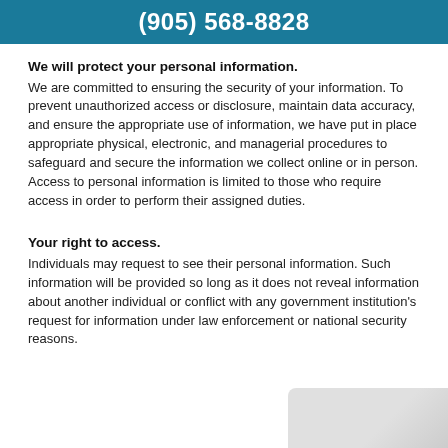(905) 568-8828
We will protect your personal information.
We are committed to ensuring the security of your information. To prevent unauthorized access or disclosure, maintain data accuracy, and ensure the appropriate use of information, we have put in place appropriate physical, electronic, and managerial procedures to safeguard and secure the information we collect online or in person. Access to personal information is limited to those who require access in order to perform their assigned duties.
Your right to access.
Individuals may request to see their personal information. Such information will be provided so long as it does not reveal information about another individual or conflict with any government institution's request for information under law enforcement or national security reasons.
[Figure (photo): Partial image visible at bottom right corner of page]